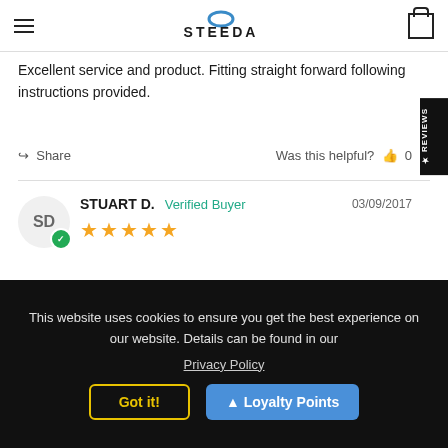STEEDA
Excellent service and product. Fitting straight forward following instructions provided.
Share   Was this helpful? 👍 0
STUART D.   Verified Buyer   03/09/2017   ★★★★★
Nice product, easy to fit.
This website uses cookies to ensure you get the best experience on our website. Details can be found in our Privacy Policy
Got it!
▲ Loyalty Points